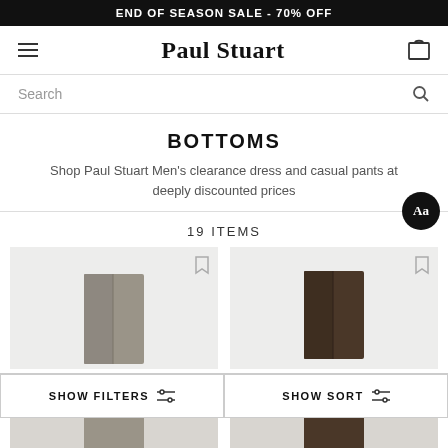END OF SEASON SALE - 70% OFF
[Figure (logo): Paul Stuart logo with hamburger menu and shopping bag icon]
Search
BOTTOMS
Shop Paul Stuart Men's clearance dress and casual pants at deeply discounted prices
19 ITEMS
[Figure (photo): Two product cards showing pants - grey/khaki pants on left and dark brown pants on right, each with bookmark icon]
SHOW FILTERS
SHOW SORT
[Figure (photo): Bottom portion of two more pants product cards]